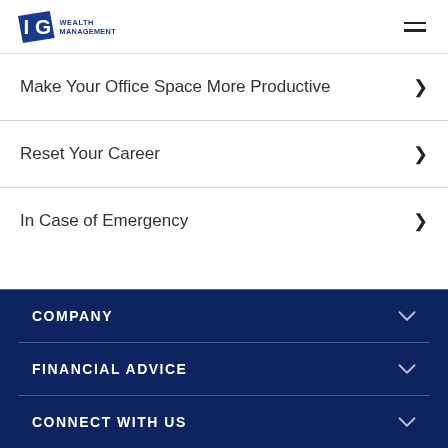IG Wealth Management
Make Your Office Space More Productive
Reset Your Career
In Case of Emergency
COMPANY | FINANCIAL ADVICE | CONNECT WITH US